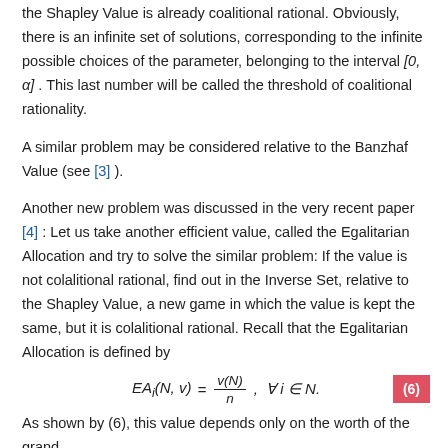the Shapley Value is already coalitional rational. Obviously, there is an infinite set of solutions, corresponding to the infinite possible choices of the parameter, belonging to the interval [0, α] . This last number will be called the threshold of coalitional rationality.
A similar problem may be considered relative to the Banzhaf Value (see [3] ).
Another new problem was discussed in the very recent paper [4] : Let us take another efficient value, called the Egalitarian Allocation and try to solve the similar problem: If the value is not colalitional rational, find out in the Inverse Set, relative to the Shapley Value, a new game in which the value is kept the same, but it is colalitional rational. Recall that the Egalitarian Allocation is defined by
As shown by (6), this value depends only on the worth of the grand